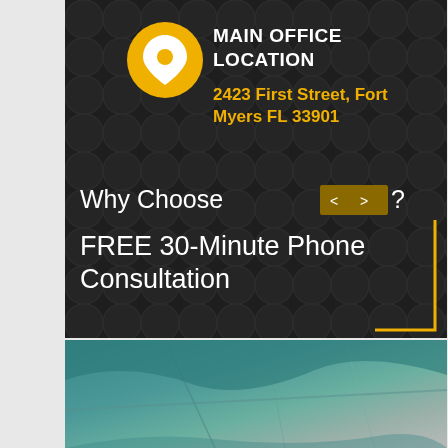[Figure (infographic): Dark scallop-patterned card with golden location pin icon, header 'MAIN OFFICE LOCATION', address '2423 First Street, Fort Myers FL 33901', navigation arrow buttons, text 'Why Choose Us?', and 'FREE 30-Minute Phone Consultation' with a gold corner bracket decoration]
[Figure (map): Partial aerial/satellite map view showing coastline or waterway area, teal and grey tones, cropped at bottom of page]